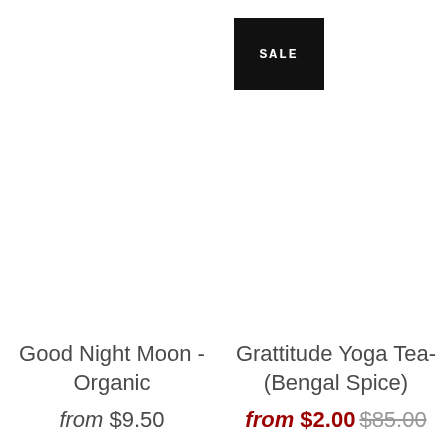[Figure (other): Black square badge with white text reading SALE]
Good Night Moon - Organic
from $9.50
Grattitude Yoga Tea-(Bengal Spice)
from $2.00 $85.00